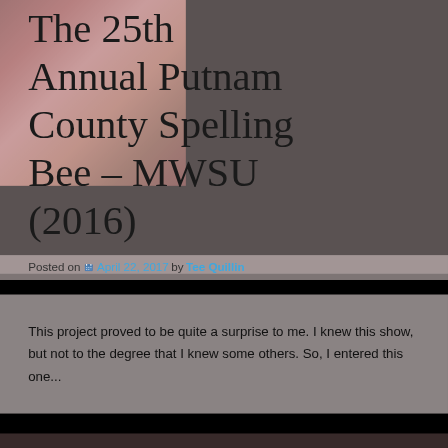The 25th Annual Putnam County Spelling Bee - MWSU (2016)
Posted on April 22, 2017 by Tee Quillin
This project proved to be quite a surprise to me. I knew this show, but not to the degree that I knew some others. So, I entered this one...